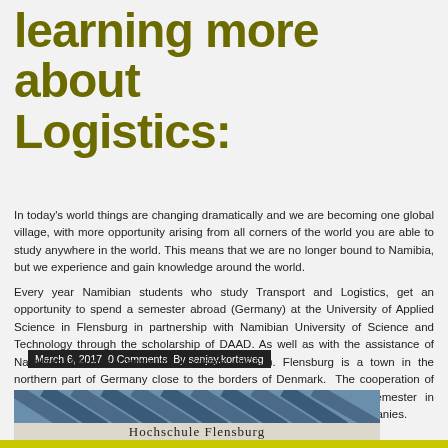learning more about Logistics:
March 6, 2017  0 Comments  By sanjay.korteweg
In today's world things are changing dramatically and we are becoming one global village, with more opportunity arising from all corners of the world you are able to study anywhere in the world. This means that we are no longer bound to Namibia, but we experience and gain knowledge around the world.
Every year Namibian students who study Transport and Logistics, get an opportunity to spend a semester abroad (Germany) at the University of Applied Science in Flensburg in partnership with Namibian University of Science and Technology through the scholarship of DAAD. As well as with the assistance of Namibian German Centre for Logistics (NGCL). Flensburg is a town in the northern part of Germany close to the borders of Denmark.  The cooperation of these two universities allow Namibian students to spend one semester in Flensburg studying and doing an internship at a German logistics companies.
[Figure (photo): Photo of Hochschule Flensburg building sign, showing a building facade with diagonal architectural elements and a sign reading 'Hochschule Flensburg']